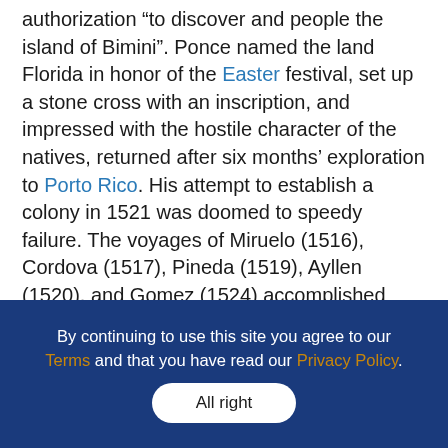authorization “to discover and people the island of Bimini”. Ponce named the land Florida in honor of the Easter festival, set up a stone cross with an inscription, and impressed with the hostile character of the natives, returned after six months’ exploration to Porto Rico. His attempt to establish a colony in 1521 was doomed to speedy failure. The voyages of Miruelo (1516), Cordova (1517), Pineda (1519), Ayllen (1520), and Gomez (1524) accomplished little beyond establishing the fact that Florida was not an island but part of a vast continent. The disastrous outcome of the expeditions of Panfilo Narvaez (1527-28), of Hernando de Soto (1538-43), and of Tristan de Luna (1559-61) are well-known episodes in the early history
By continuing to use this site you agree to our Terms and that you have read our Privacy Policy.
All right